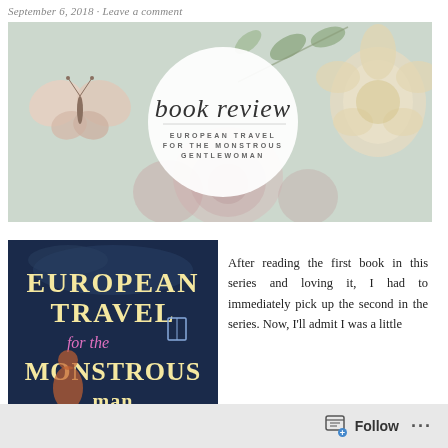September 6, 2018   Leave a comment
[Figure (illustration): Book review banner image with floral and butterfly decorations on a sage green background, with a white circle containing the text 'book review' in cursive and 'European Travel for the Monstrous Gentlewoman' in small caps]
[Figure (illustration): Book cover of 'European Travel for the Monstrous' with decorative lettering on a dark navy background with illustrated characters]
After reading the first book in this series and loving it, I had to immediately pick up the second in the series. Now, I'll admit I was a little intimidated by the
Follow ...